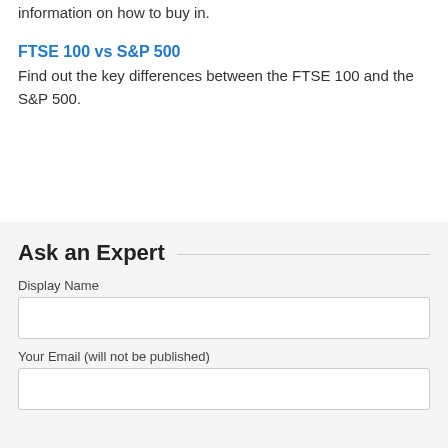information on how to buy in.
FTSE 100 vs S&P 500
Find out the key differences between the FTSE 100 and the S&P 500.
Ask an Expert
Display Name
Your Email (will not be published)